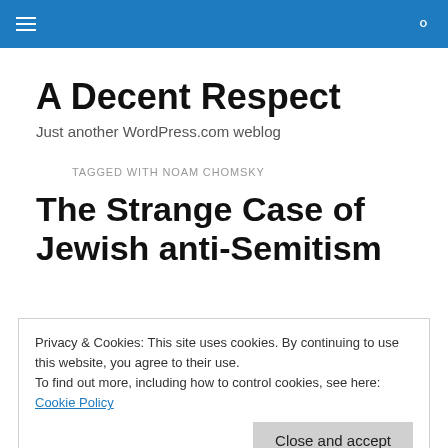A Decent Respect — navigation bar
A Decent Respect
Just another WordPress.com weblog
TAGGED WITH NOAM CHOMSKY
The Strange Case of Jewish anti-Semitism
Privacy & Cookies: This site uses cookies. By continuing to use this website, you agree to their use.
To find out more, including how to control cookies, see here: Cookie Policy
he assembles an impressive rogues' gallery of intellectual